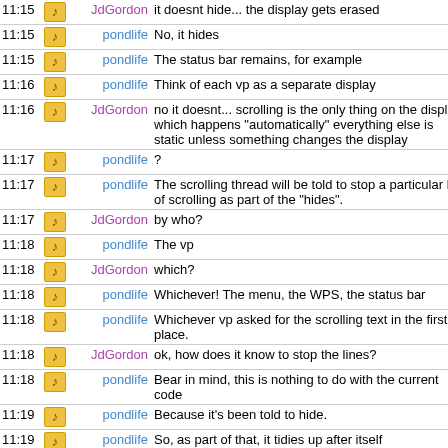| Time | Icon | User | Message |
| --- | --- | --- | --- |
| 11:15 | ♪ | JdGordon | it doesnt hide... the display gets erased |
| 11:15 | ♪ | pondlife | No, it hides |
| 11:15 | ♪ | pondlife | The status bar remains, for example |
| 11:16 | ♪ | pondlife | Think of each vp as a separate display |
| 11:16 | ♪ | JdGordon | no it doesnt... scrolling is the only thing on the display which happens "automatically" everything else is static unless something changes the display |
| 11:17 | ♪ | pondlife | ? |
| 11:17 | ♪ | pondlife | The scrolling thread will be told to stop a particular bit of scrolling as part of the "hides". |
| 11:17 | ♪ | JdGordon | by who? |
| 11:18 | ♪ | pondlife | The vp |
| 11:18 | ♪ | JdGordon | which? |
| 11:18 | ♪ | pondlife | Whichever! The menu, the WPS, the status bar |
| 11:18 | ♪ | pondlife | Whichever vp asked for the scrolling text in the first place. |
| 11:18 | ♪ | JdGordon | ok, how does it know to stop the lines? |
| 11:18 | ♪ | pondlife | Bear in mind, this is nothing to do with the current code |
| 11:19 | ♪ | pondlife | Because it's been told to hide. |
| 11:19 | ♪ | pondlife | So, as part of that, it tidies up after itself |
| 11:19 | ♪ | JdGordon | arg... i cant do this over irc |
| 11:19 | ♪ | petur | what? hit him? |
| 11:19 | ♪ | JdGordon | :) |
| 11:19 | ♪ | pondlife | hehe |